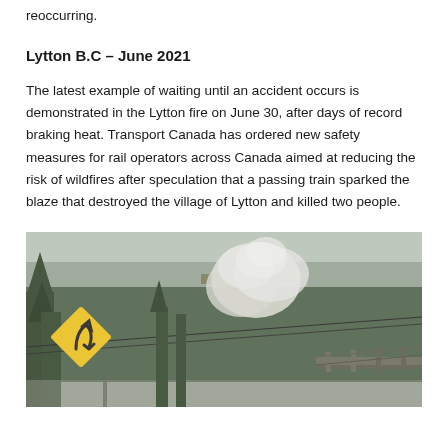reoccurring.
Lytton B.C – June 2021
The latest example of waiting until an accident occurs is demonstrated in the Lytton fire on June 30, after days of record braking heat. Transport Canada has ordered new safety measures for rail operators across Canada aimed at reducing the risk of wildfires after speculation that a passing train sparked the blaze that destroyed the village of Lytton and killed two people.
[Figure (photo): Photograph of the Lytton wildfire showing smoke rising from forested hillside with buildings, a yellow chevron road sign visible in foreground, and a bridge structure visible in the background.]